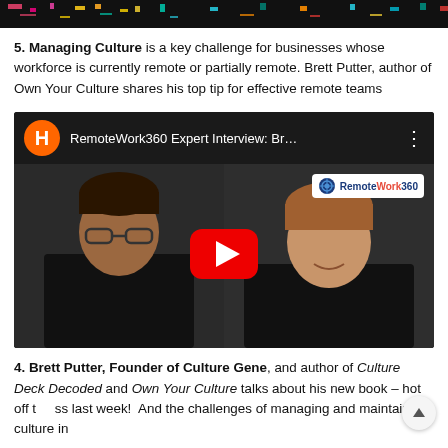[Figure (screenshot): Top banner strip — dark background with colorful pixel/block pattern]
5. Managing Culture is a key challenge for businesses whose workforce is currently remote or partially remote. Brett Putter, author of Own Your Culture shares his top tip for effective remote teams
[Figure (screenshot): YouTube video embed: RemoteWork360 Expert Interview: Br... — showing two people on a video call, with a red YouTube play button overlay and RemoteWork360 logo]
4. Brett Putter, Founder of Culture Gene, and author of Culture Deck Decoded and Own Your Culture talks about his new book – hot off t ss last week!  And the challenges of managing and maintaining culture in